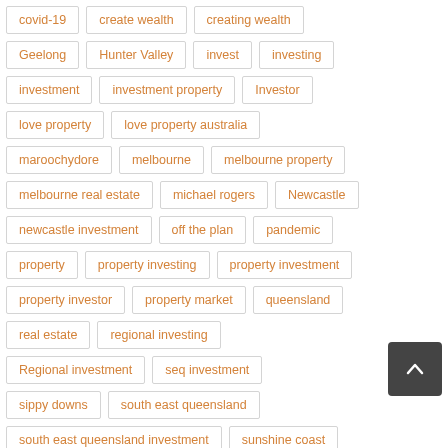covid-19
create wealth
creating wealth
Geelong
Hunter Valley
invest
investing
investment
investment property
Investor
love property
love property australia
maroochydore
melbourne
melbourne property
melbourne real estate
michael rogers
Newcastle
newcastle investment
off the plan
pandemic
property
property investing
property investment
property investor
property market
queensland
real estate
regional investing
Regional investment
seq investment
sippy downs
south east queensland
south east queensland investment
sunshine coast